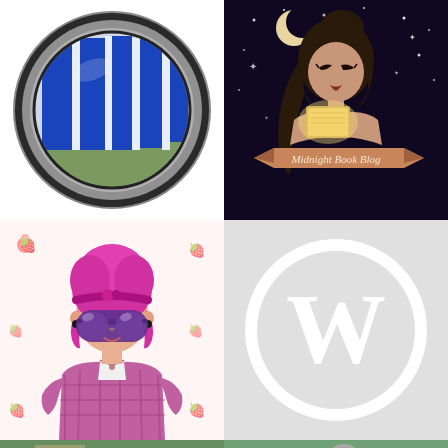[Figure (logo): Circular globe-shaped logo showing a blue and white building reflected in a fisheye/globe lens, with dark gray circular frame]
[Figure (illustration): Midnight Book Blog logo: animated girl with dark hair reading a glowing book against a dark night sky with moon and stars, text 'Midnight Book Blog' on a ribbon banner]
[Figure (illustration): Cartoon anime-style avatar of a girl with bright pink hair and purple sunglasses wearing a plaid shirt, surrounded by small strawberry icons on light pink background]
[Figure (logo): WordPress logo: white W inside a white circle outline on light gray background]
[Figure (photo): Partial outdoor photo showing green foliage and what appears to be a sunflower, cropped at bottom]
[Figure (photo): Partial outdoor photo showing green foliage, possibly a person with gray hair, cropped at bottom]